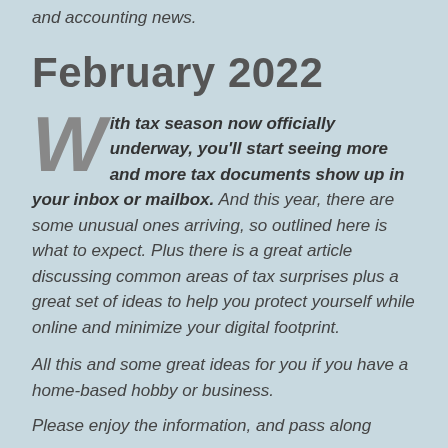and accounting news.
February 2022
With tax season now officially underway, you'll start seeing more and more tax documents show up in your inbox or mailbox. And this year, there are some unusual ones arriving, so outlined here is what to expect. Plus there is a great article discussing common areas of tax surprises plus a great set of ideas to help you protect yourself while online and minimize your digital footprint.
All this and some great ideas for you if you have a home-based hobby or business.
Please enjoy the information, and pass along